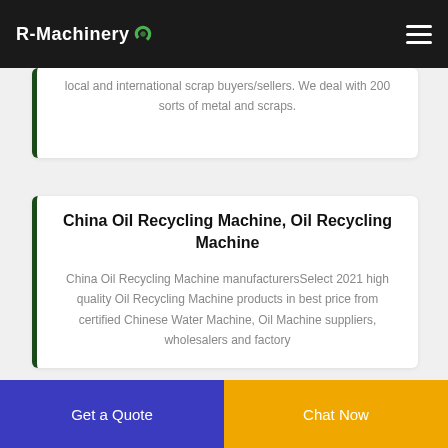R-Machinery
local and international scrap buyers/sellers. We deal with 200 sorts of metal and scraps.
China Oil Recycling Machine, Oil Recycling Machine
China Oil Recycling Machine manufacturersSelect 2021 high quality Oil Recycling Machine products in best price from certified Chinese Water Machine, Oil Machine suppliers, wholesalers and factory
Get a Quote
Chat Now